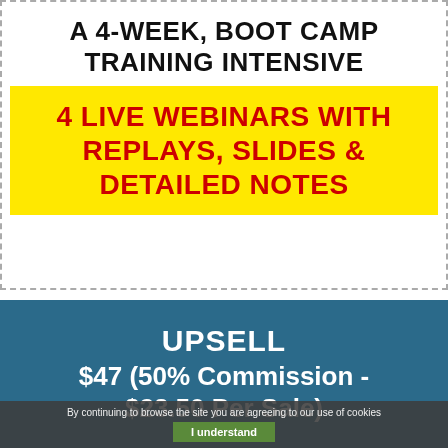A 4-WEEK, BOOT CAMP TRAINING INTENSIVE
4 LIVE WEBINARS WITH REPLAYS, SLIDES & DETAILED NOTES
UPSELL $47 (50% Commission - $23.50 Per Sale)
By continuing to browse the site you are agreeing to our use of cookies
I understand